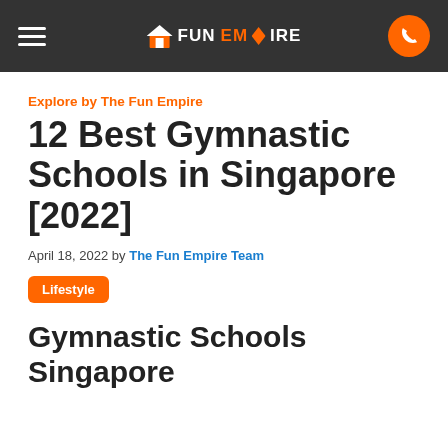FunEmpire navigation bar
Explore by The Fun Empire
12 Best Gymnastic Schools in Singapore [2022]
April 18, 2022 by The Fun Empire Team
Lifestyle
Gymnastic Schools Singapore